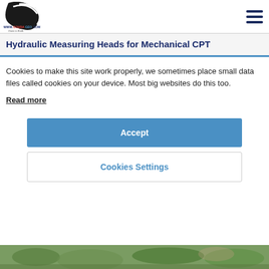WWW.GOUDAGEO.COM Down to Earth
Hydraulic Measuring Heads for Mechanical CPT
Cookies to make this site work properly, we sometimes place small data files called cookies on your device. Most big websites do this too.
Read more
Accept
Cookies Settings
[Figure (photo): Bottom portion of a photo showing green plants/vegetation on ground, partially visible at the bottom of the page]